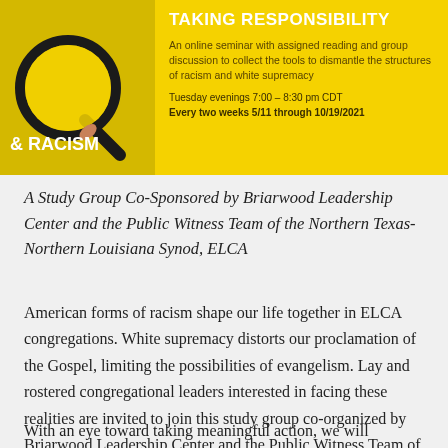[Figure (illustration): Yellow banner image with a magnifying glass graphic on the left side over text '& RACISM' and on the right side bold white text 'TAKING RESPONSIBILITY', followed by description text about an online seminar with schedule information for Tuesday evenings 7:00-8:30 pm CDT, every two weeks 5/11 through 10/19/2021]
A Study Group Co-Sponsored by Briarwood Leadership Center and the Public Witness Team of the Northern Texas-Northern Louisiana Synod, ELCA
American forms of racism shape our life together in ELCA congregations. White supremacy distorts our proclamation of the Gospel, limiting the possibilities of evangelism. Lay and rostered congregational leaders interested in facing these realities are invited to join this study group co-organized by Briarwood Leadership Center and the Public Witness Team of NT-NL Synod.
With an eye toward taking meaningful action, we will